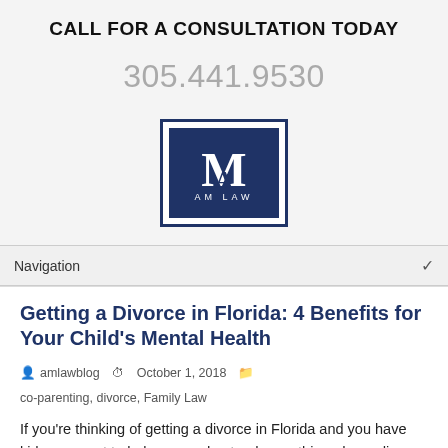CALL FOR A CONSULTATION TODAY
305.441.9530
[Figure (logo): AM Law logo — dark navy blue square with white serif M monogram and 'AM LAW' text below, double-border frame]
Navigation
Getting a Divorce in Florida: 4 Benefits for Your Child's Mental Health
amlawblog   October 1, 2018   co-parenting, divorce, Family Law
If you're thinking of getting a divorce in Florida and you have kids, we want to help you understand something: depending on